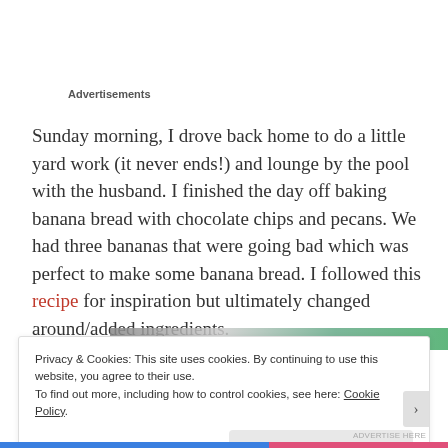Advertisements
Sunday morning, I drove back home to do a little yard work (it never ends!) and lounge by the pool with the husband.  I finished the day off baking banana bread with chocolate chips and pecans.  We had three bananas that were going bad which was perfect to make some banana bread.  I followed this recipe for inspiration but ultimately changed around/added ingredients.
[Figure (photo): Partial view of an image at the bottom of the article, appears to show an outdoor scene.]
Privacy & Cookies:  This site uses cookies.  By continuing to use this website, you agree to their use.
To find out more, including how to control cookies, see here: Cookie Policy
Close and accept